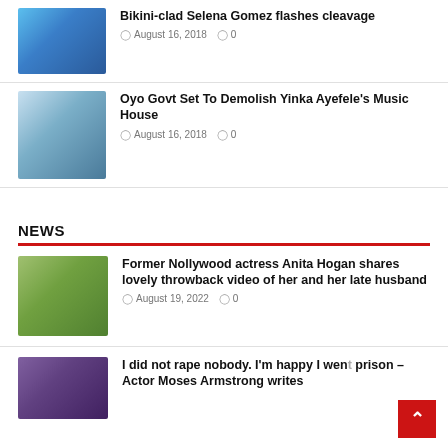[Figure (photo): Thumbnail photo for Selena Gomez article]
Bikini-clad Selena Gomez flashes cleavage
August 16, 2018  0
[Figure (photo): Thumbnail photo for Yinka Ayefele article]
Oyo Govt Set To Demolish Yinka Ayefele's Music House
August 16, 2018  0
NEWS
[Figure (photo): Thumbnail photo for Anita Hogan article]
Former Nollywood actress Anita Hogan shares lovely throwback video of her and her late husband
August 19, 2022  0
[Figure (photo): Thumbnail photo for Moses Armstrong article]
I did not rape nobody. I'm happy I went prison – Actor Moses Armstrong writes